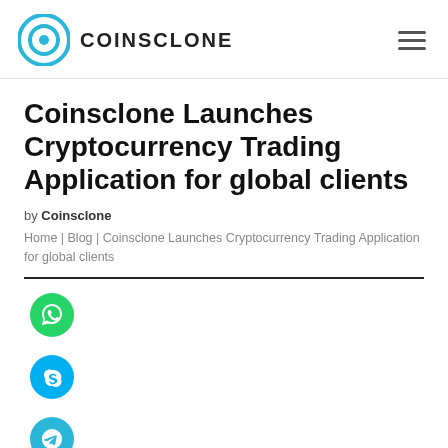COINSCLONE
Coinsclone Launches Cryptocurrency Trading Application for global clients
by Coinsclone
Home | Blog | Coinsclone Launches Cryptocurrency Trading Application for global clients
[Figure (illustration): Three social media icon buttons: WhatsApp (green), Skype (blue), Telegram (light blue)]